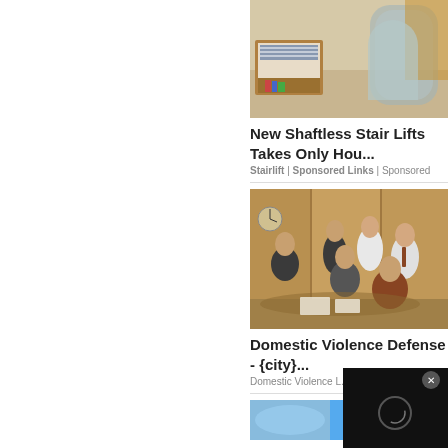[Figure (photo): Bedroom with stairlift/accessible shower unit, wooden furniture, striped bedding]
New Shaftless Stair Lifts Takes Only Hou...
Stairlift | Sponsored Links | Sponsored
[Figure (photo): Group of legal professionals, men and women in business attire, posed in an office hallway]
Domestic Violence Defense - {city}...
Domestic Violence L...
[Figure (photo): Partial image at bottom, blue tones]
[Figure (screenshot): Video player overlay, dark background with circular loading/play indicator and X close button]